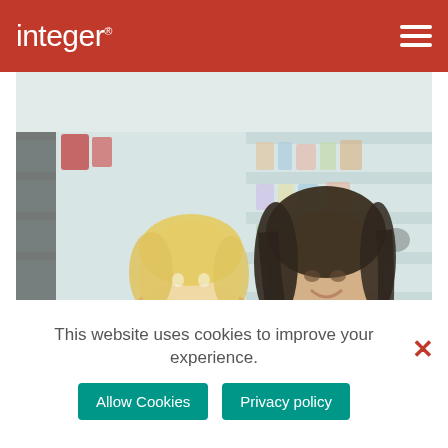integer
[Figure (photo): A smiling dark-haired woman leaning towards a young blonde child in a pink top, in a supermarket aisle with blurred shelves of products in the background.]
This website uses cookies to improve your experience.
Allow Cookies
Privacy policy